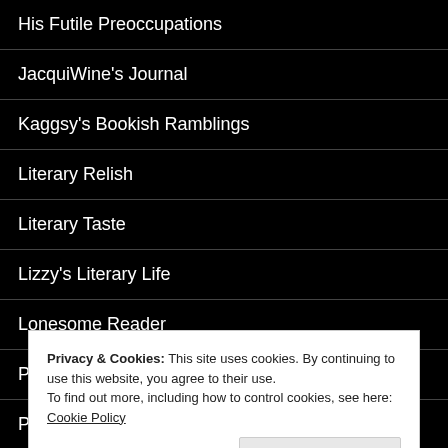His Futile Preoccupations
JacquiWine's Journal
Kaggsy's Bookish Ramblings
Literary Relish
Literary Taste
Lizzy's Literary Life
Lonesome Reader
Pechorin's Journal
Poppy Peacock Pens
Privacy & Cookies: This site uses cookies. By continuing to use this website, you agree to their use.
To find out more, including how to control cookies, see here: Cookie Policy
Close and accept